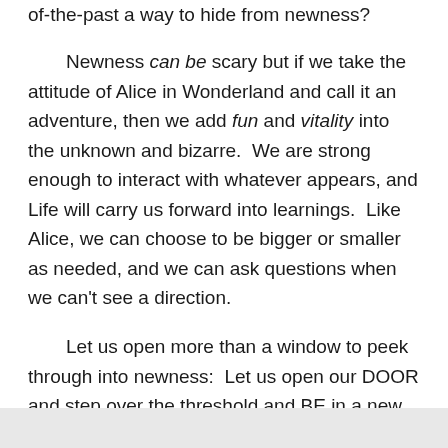of-the-past a way to hide from newness?
Newness can be scary but if we take the attitude of Alice in Wonderland and call it an adventure, then we add fun and vitality into the unknown and bizarre.  We are strong enough to interact with whatever appears, and Life will carry us forward into learnings.  Like Alice, we can choose to be bigger or smaller as needed, and we can ask questions when we can't see a direction.
Let us open more than a window to peek through into newness:  Let us open our DOOR and step over the threshold and BE in a new place!  Let's allow ourselves to stand in a new place and be unfamiliar even to our self!